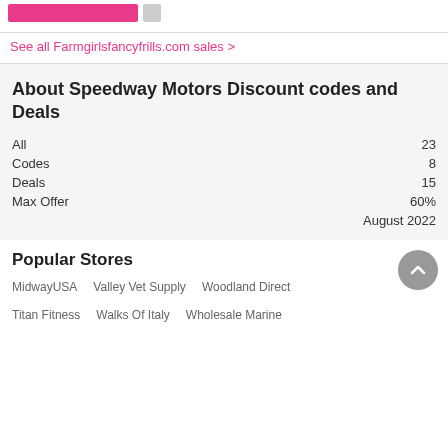See all Farmgirlsfancyfrills.com sales >
About Speedway Motors Discount codes and Deals
|  |  |
| --- | --- |
| All | 23 |
| Codes | 8 |
| Deals | 15 |
| Max Offer | 60% |
|  | August 2022 |
Popular Stores
MidwayUSA   Valley Vet Supply   Woodland Direct
Titan Fitness   Walks Of Italy   Wholesale Marine